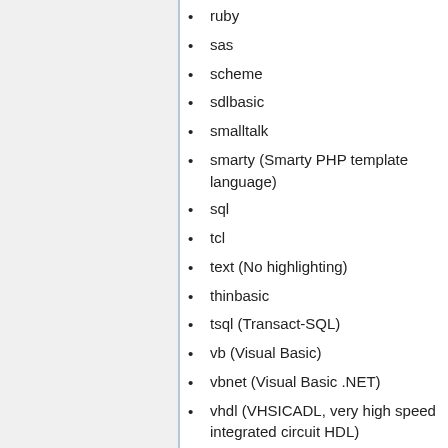ruby
sas
scheme
sdlbasic
smalltalk
smarty (Smarty PHP template language)
sql
tcl
text (No highlighting)
thinbasic
tsql (Transact-SQL)
vb (Visual Basic)
vbnet (Visual Basic .NET)
vhdl (VHSICADL, very high speed integrated circuit HDL)
visualfoxpro
winbatch (Windows Batch Scripting)
xml